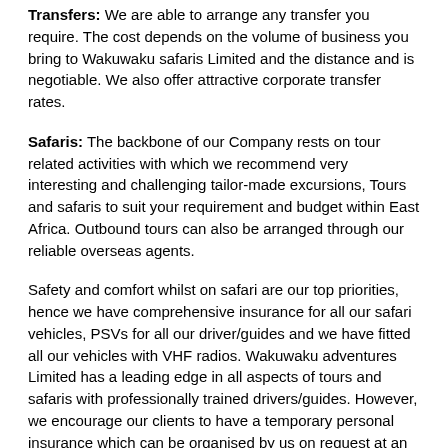Transfers: We are able to arrange any transfer you require. The cost depends on the volume of business you bring to Wakuwaku safaris Limited and the distance and is negotiable. We also offer attractive corporate transfer rates.
Safaris: The backbone of our Company rests on tour related activities with which we recommend very interesting and challenging tailor-made excursions, Tours and safaris to suit your requirement and budget within East Africa. Outbound tours can also be arranged through our reliable overseas agents.
Safety and comfort whilst on safari are our top priorities, hence we have comprehensive insurance for all our safari vehicles, PSVs for all our driver/guides and we have fitted all our vehicles with VHF radios. Wakuwaku adventures Limited has a leading edge in all aspects of tours and safaris with professionally trained drivers/guides. However, we encourage our clients to have a temporary personal insurance which can be organised by us on request at an extra fee.We at Wakuwaku safaris Limited believe that you will receive satisfaction in your dealings with us even as you play a vital role in helping us achieve our vision, mission and values